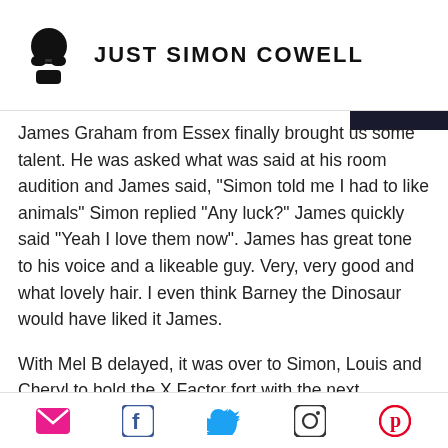JUST SIMON COWELL
James Graham from Essex finally brought us some talent. He was asked what was said at his room audition and James said, "Simon told me I had to like animals" Simon replied "Any luck?" James quickly said "Yeah I love them now". James has great tone to his voice and a likeable guy. Very, very good and what lovely hair. I even think Barney the Dinosaur would have liked it James.
With Mel B delayed, it was over to Simon, Louis and Cheryl to hold the X Factor fort with the next audition. So will hairdresser and Cheryl's twin, Jale Antor
Social share icons: email, facebook, twitter, instagram, pinterest